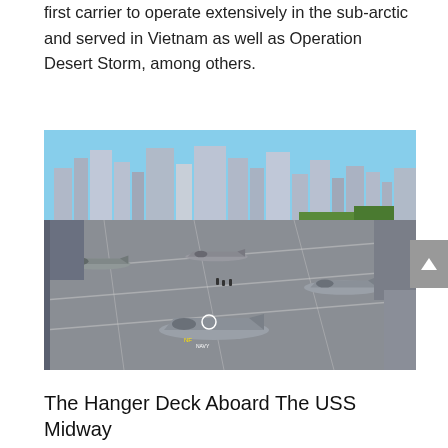first carrier to operate extensively in the sub-arctic and served in Vietnam as well as Operation Desert Storm, among others.
[Figure (photo): Aerial view of the USS Midway aircraft carrier flight deck with multiple military aircraft displayed. City skyline of San Diego visible in the background with blue sky.]
The Hanger Deck Aboard The USS Midway